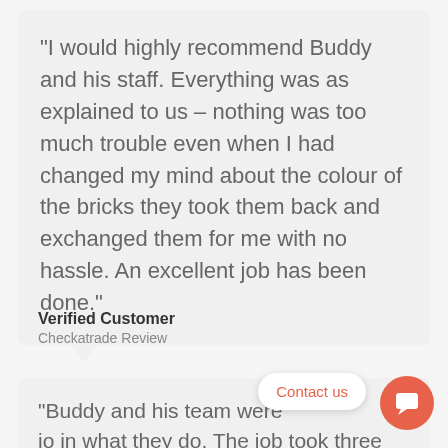“I would highly recommend Buddy and his staff. Everything was as explained to us – nothing was too much trouble even when I had changed my mind about the colour of the bricks they took them back and exchanged them for me with no hassle. An excellent job has been done.”
Verified Customer
Checkatrade Review
“Buddy and his team were [obscured] in what they do. The job took three days from start to finish, completely changing the [obscured]